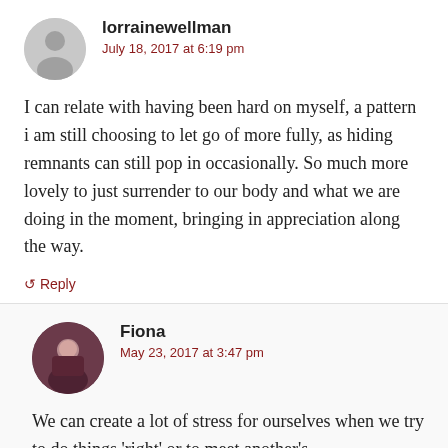lorrainewellman
July 18, 2017 at 6:19 pm
I can relate with having been hard on myself, a pattern i am still choosing to let go of more fully, as hiding remnants can still pop in occasionally. So much more lovely to just surrender to our body and what we are doing in the moment, bringing in appreciation along the way.
↺ Reply
Fiona
May 23, 2017 at 3:47 pm
We can create a lot of stress for ourselves when we try to do things 'right' or to meet another's